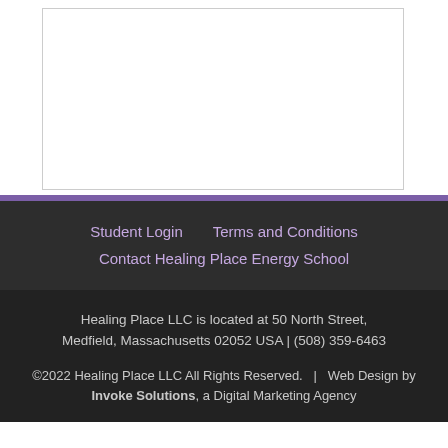[Figure (other): White rectangular content area with border at top of page]
Student Login   Terms and Conditions   Contact Healing Place Energy School
Healing Place LLC is located at 50 North Street, Medfield, Massachusetts 02052 USA | (508) 359-6463
©2022 Healing Place LLC All Rights Reserved.  |  Web Design by Invoke Solutions, a Digital Marketing Agency